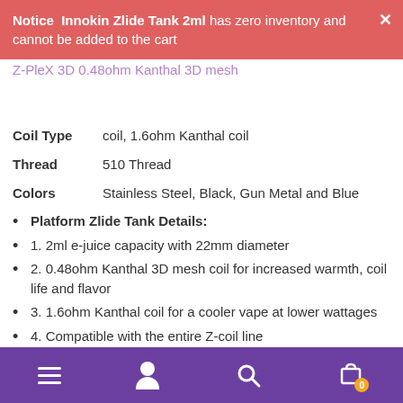Notice  Innokin Zlide Tank 2ml has zero inventory and cannot be added to the cart
| Property | Value |
| --- | --- |
| Coil Type | Z-PleX 3D 0.48ohm Kanthal 3D mesh coil, 1.6ohm Kanthal coil |
| Thread | 510 Thread |
| Colors | Stainless Steel, Black, Gun Metal and Blue |
Platform Zlide Tank Details:
1. 2ml e-juice capacity with 22mm diameter
2. 0.48ohm Kanthal 3D mesh coil for increased warmth, coil life and flavor
3. 1.6ohm Kanthal coil for a cooler vape at lower wattages
4. Compatible with the entire Z-coil line
5. Convenient childproof slide to open top filling
Navigation bar with menu, account, search, and cart icons